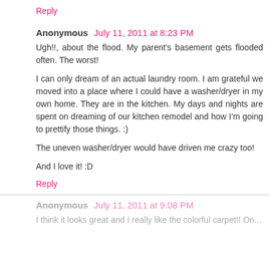Reply
Anonymous  July 11, 2011 at 8:23 PM
Ugh!!, about the flood. My parent's basement gets flooded often. The worst!
I can only dream of an actual laundry room. I am grateful we moved into a place where I could have a washer/dryer in my own home. They are in the kitchen. My days and nights are spent on dreaming of our kitchen remodel and how I'm going to prettify those things. :)
The uneven washer/dryer would have driven me crazy too!
And I love it! :D
Reply
Anonymous  July 11, 2011 at 9:08 PM
I think it looks great and I really like the colorful carpet!! On...